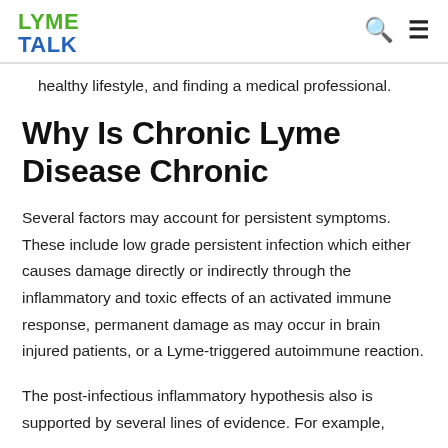LYME TALK
healthy lifestyle, and finding a medical professional.
Why Is Chronic Lyme Disease Chronic
Several factors may account for persistent symptoms. These include low grade persistent infection which either causes damage directly or indirectly through the inflammatory and toxic effects of an activated immune response, permanent damage as may occur in brain injured patients, or a Lyme-triggered autoimmune reaction.
The post-infectious inflammatory hypothesis also is supported by several lines of evidence. For example,